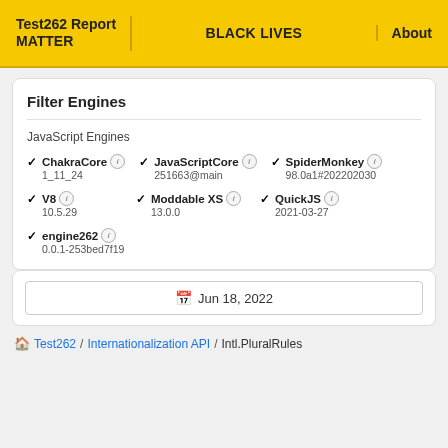Test262 Report MATTER | BLACK LIVES | About
Filter Engines
JavaScript Engines
✓ ChakraCore i 1_11_24
✓ JavaScriptCore i 251663@main
✓ SpiderMonkey i 98.0a1#202202030
✓ V8 i 10.5.29
✓ Moddable XS i 13.0.0
✓ QuickJS i 2021-03-27
✓ engine262 i 0.0.1-253bed7f19
📅 Jun 18, 2022
🏠 Test262 / Internationalization API / Intl.PluralRules